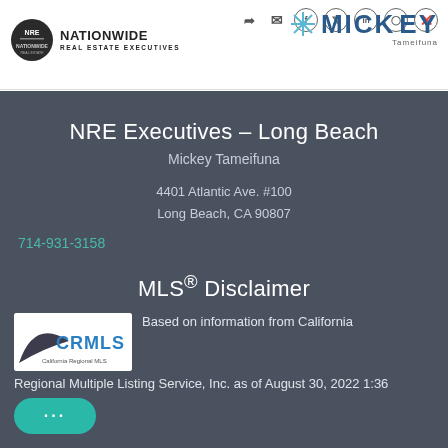[Figure (logo): NRE Nationwide Real Estate Executives logo with circular NRE emblem]
[Figure (logo): Mickey Tameifuna personal branding logo with snowflake icon and name]
NRE Executives – Long Beach
Mickey Tameifuna
4401 Atlantic Ave. #100
Long Beach, CA 90807
714-931-3158
MLS® Disclaimer
[Figure (logo): CRMLS California Regional Multiple Listing Service logo]
Based on information from California Regional Multiple Listing Service, Inc. as of August 30, 2022 1:36